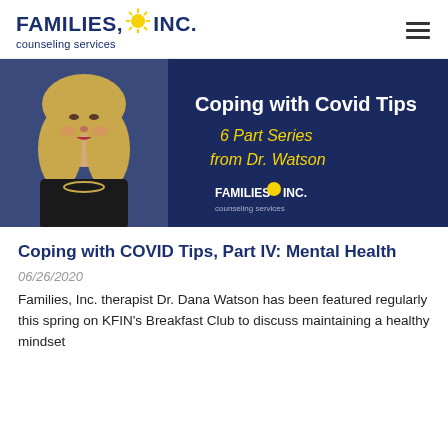[Figure (logo): Families, Inc. Counseling Services logo with sun graphic]
[Figure (photo): Banner image: woman with blonde hair on left side against dark navy background, text reads 'Coping with Covid Tips 6 Part Series from Dr. Watson' with Families, Inc. Counseling Services logo]
Coping with COVID Tips, Part IV: Mental Health
06/26/2020
Families, Inc. therapist Dr. Dana Watson has been featured regularly this spring on KFIN's Breakfast Club to discuss maintaining a healthy mindset